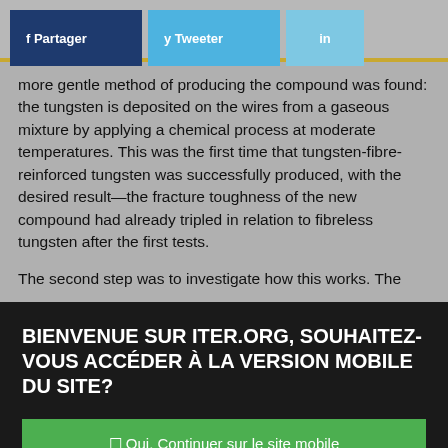f Partager  y Tweeter  in
more gentle method of producing the compound was found: the tungsten is deposited on the wires from a gaseous mixture by applying a chemical process at moderate temperatures. This was the first time that tungsten-fibre-reinforced tungsten was successfully produced, with the desired result—the fracture toughness of the new compound had already tripled in relation to fibreless tungsten after the first tests.
The second step was to investigate how this works. The
BIENVENUE SUR ITER.ORG, SOUHAITEZ-VOUS ACCÉDER À LA VERSION MOBILE DU SITE?
☐ Oui, Continuer sur le site mobile
☐ Non, rester sur la version classique
Haut de la Page